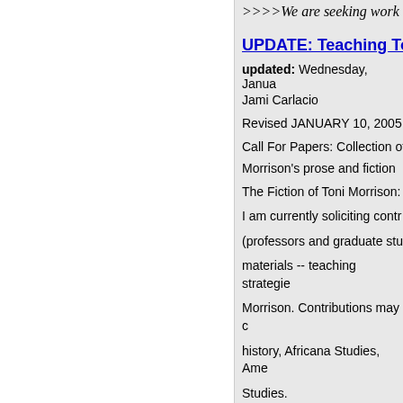>>>>We are seeking work r
UPDATE: Teaching To
updated: Wednesday, Janua
Jami Carlacio
Revised JANUARY 10, 2005
Call For Papers: Collection of a Morrison's prose and fiction
The Fiction of Toni Morrison: T
I am currently soliciting contr (professors and graduate stu materials -- teaching strategie Morrison. Contributions may c history, Africana Studies, Ame Studies.